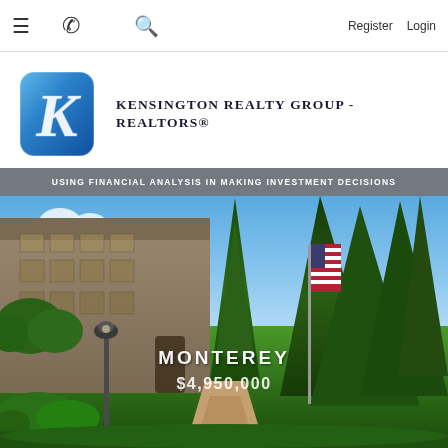≡  ✆  🔍  Register  Login
[Figure (logo): Kensington Realty Group logo — blue rounded square with italic serif K in white/silver]
KENSINGTON REALTY GROUP - REALTORS®
USING FINANCIAL ANALYSIS IN MAKING INVESTMENT DECISIONS
[Figure (photo): Exterior photo of a large estate property in Monterey, showing a multi-story building with warm brown facade, tall pine/cypress trees, lush green gardens, a lamp post, an American flag on a flagpole, and a brick pathway. Overlaid text shows 'MONTEREY' and '$4,950,000'.]